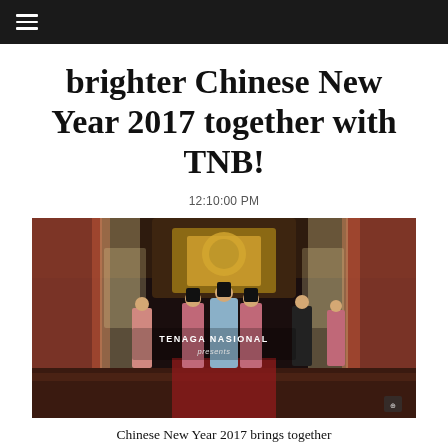☰
brighter Chinese New Year 2017 together with TNB!
12:10:00 PM
[Figure (photo): Scene from a Tenaga Nasional (TNB) Chinese New Year 2017 video. Shows people in traditional Chinese costumes in an ornate hall with red and gold decor, curtains, and a throne. Text overlay reads 'TENAGA NASIONAL presents'.]
Chinese New Year 2017 brings together